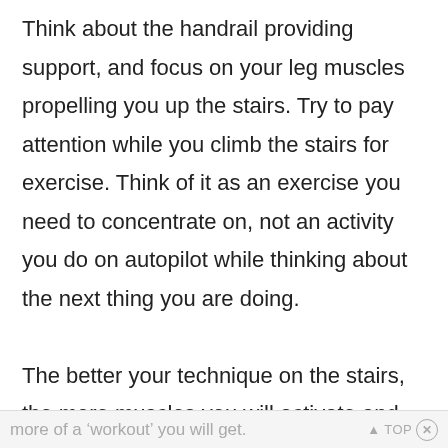Think about the handrail providing support, and focus on your leg muscles propelling you up the stairs. Try to pay attention while you climb the stairs for exercise. Think of it as an exercise you need to concentrate on, not an activity you do on autopilot while thinking about the next thing you are doing.

The better your technique on the stairs, the more muscles you will activate and the
more of a 'workout' you will get.